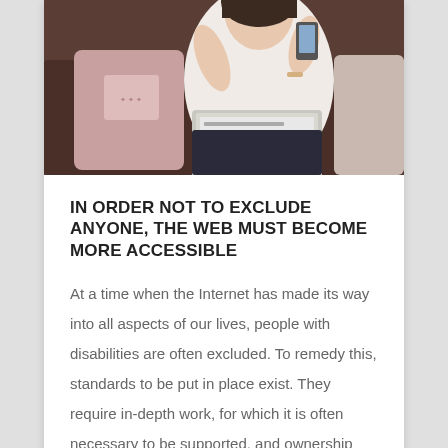[Figure (photo): A woman sitting on a couch, holding a phone and using a laptop, with a pink pillow beside her.]
IN ORDER NOT TO EXCLUDE ANYONE, THE WEB MUST BECOME MORE ACCESSIBLE
At a time when the Internet has made its way into all aspects of our lives, people with disabilities are often excluded. To remedy this, standards to be put in place exist. They require in-depth work, for which it is often necessary to be supported, and ownership by…